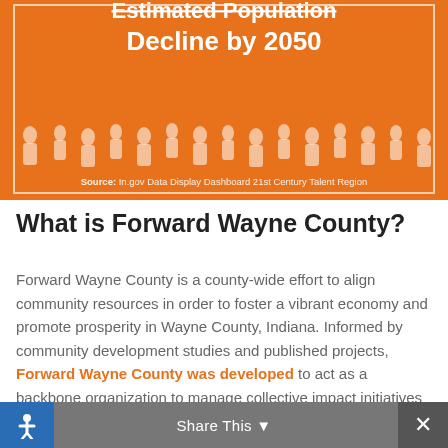[Figure (infographic): Orange banner with text 'Estimated Population Decline by 2050' and silhouette figures of people at the bottom. Source: In.gov Data Display Dashboard 21st Century Talent Region.]
What is Forward Wayne County?
Forward Wayne County is a county-wide effort to align community resources in order to foster a vibrant economy and promote prosperity in Wayne County, Indiana. Informed by community development studies and published projects, Forward Wayne County was developed to act as a backbone organization to manage collective impact initiatives that are focused on attracting, developing, and retaining a highly...
Share This